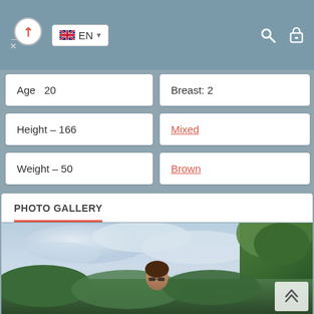EN (language selector) | search | lock icons
Age  20
Breast: 2
Height – 166
Mixed
Weight – 50
Brown
PHOTO GALLERY
[Figure (photo): Woman standing outdoors with cloudy sky and green trees/foliage in the background]